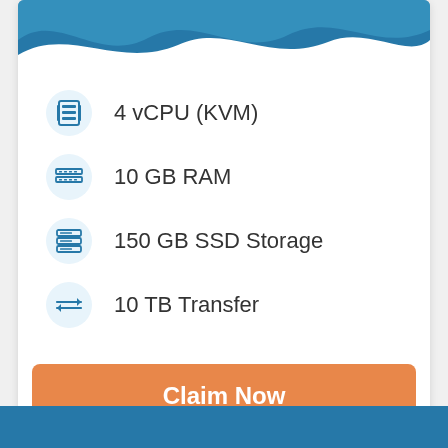[Figure (illustration): Blue wave decorative header on white card background]
4 vCPU (KVM)
10 GB RAM
150 GB SSD Storage
10 TB Transfer
Claim Now